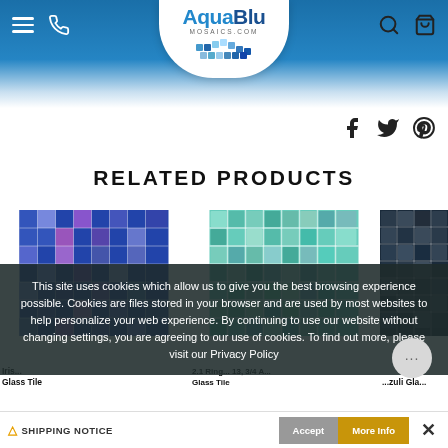[Figure (screenshot): AquaBlu Mosaics website header with logo, hamburger menu, phone icon, search icon, and cart icon on a blue gradient background]
[Figure (screenshot): Social media icons: Facebook, Twitter, Pinterest]
RELATED PRODUCTS
[Figure (photo): Blue iridescent glass mosaic tile product image]
[Figure (photo): Green/teal glass mosaic tile product image]
[Figure (photo): Dark blue/navy glass mosaic tile product image]
Iris... Glass Tile
$ 40.00 per sheet
(Price per sqft: $ 42.55)
2.1 Ring... 13, 3/4 A... Glass Tile
$ 4... per sheet
(Price per sq...)
...zuli Gla...
...4.00 p...
(Price per sq...)
This site uses cookies which allow us to give you the best browsing experience possible. Cookies are files stored in your browser and are used by most websites to help personalize your web experience. By continuing to use our website without changing settings, you are agreeing to our use of cookies. To find out more, please visit our Privacy Policy
[Figure (screenshot): Chat bubble button with ellipsis]
⚠ SHIPPING NOTICE
Accept
More Info